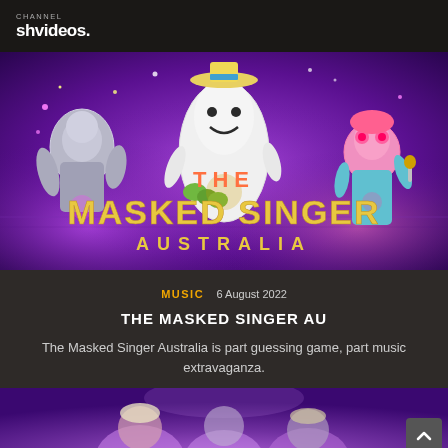shvideos.
[Figure (photo): Promotional image for The Masked Singer Australia showing three costumed characters on a purple/magenta stage backdrop. Characters include a silver disco-ball figure, a large white bowling pin character, and a pink doll-like figure. Large gold text reads 'THE MASKED SINGER AUSTRALIA'.]
MUSIC   6 August 2022
THE MASKED SINGER AU
The Masked Singer Australia is part guessing game, part music extravaganza.
[Figure (photo): Bottom portion of a second image showing what appears to be television show judges or contestants against a purple/pink stage background.]